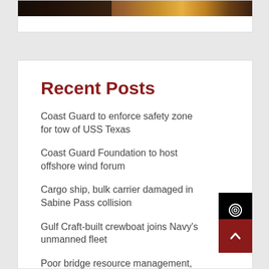[Figure (photo): Partial view of a photo at the top of the page showing warm tones, people partially visible]
Recent Posts
Coast Guard to enforce safety zone for tow of USS Texas
Coast Guard Foundation to host offshore wind forum
Cargo ship, bulk carrier damaged in Sabine Pass collision
Gulf Craft-built crewboat joins Navy's unmanned fleet
Poor bridge resource management,